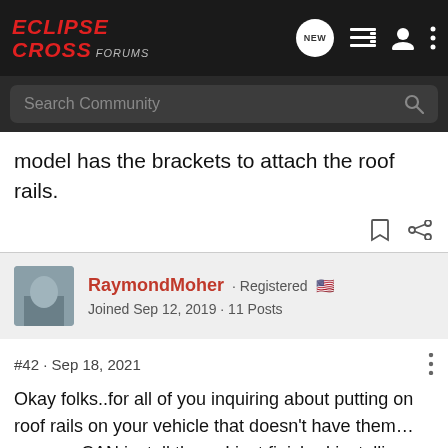ECLIPSE CROSS FORUMS
model has the brackets to attach the roof rails.
RaymondMoher · Registered
Joined Sep 12, 2019 · 11 Posts
#42 · Sep 18, 2021
Okay folks..for all of you inquiring about putting on roof rails on your vehicle that doesn't have them…yes you CAN install them..I just finished installing mine! It was quite a bit of work but